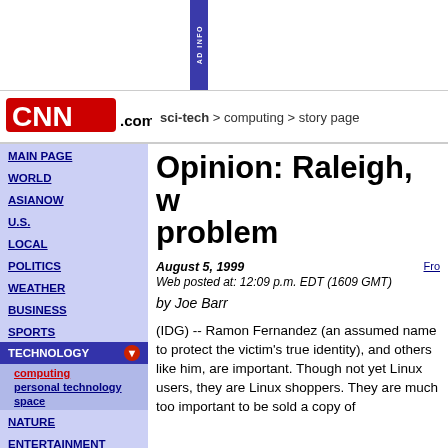[Figure (other): CNN.com website screenshot with ad banner, navigation sidebar, and article content]
AD INFO (vertical banner)
sci-tech > computing > story page
Opinion: Raleigh, w... problem
August 5, 1999
Web posted at: 12:09 p.m. EDT (1609 GMT)
by Joe Barr
(IDG) -- Ramon Fernandez (an assumed name to protect the victim's true identity), and others like him, are important. Though not yet Linux users, they are Linux shoppers. They are much too important to be sold a copy of ...